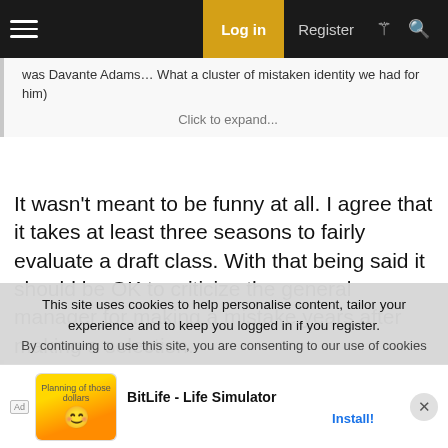Log in | Register
was Davante Adams… What a cluster of mistaken identity we had for him)
Click to expand...
It wasn't meant to be funny at all. I agree that it takes at least three seasons to fairly evaluate a draft class. With that being said it should be OK to criticize the general manager for making a mistake years after making a selection.
OldSchool101 said:
Was it an error to choose at the most volatile position of QB in the event our GM thought there was doubt as to a particular players
This site uses cookies to help personalise content, tailor your experience and to keep you logged in if you register.
By continuing to use this site, you are consenting to our use of cookies
[Figure (screenshot): Advertisement banner for BitLife - Life Simulator app with install button]